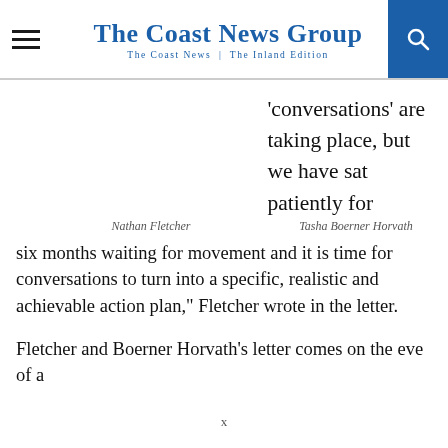The Coast News Group
The Coast News | The Inland Edition
‘conversations’ are taking place, but we have sat patiently for six months waiting for movement and it is time for conversations to turn into a specific, realistic and achievable action plan,” Fletcher wrote in the letter.
Nathan Fletcher
Tasha Boerner Horvath
Fletcher and Boerner Horvath’s letter comes on the eve of a